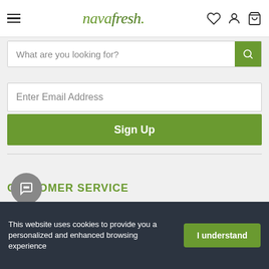navafresh. [navigation with hamburger, heart, user, cart icons]
What are you looking for?
Enter Email Address
Sign Up
CUSTOMER SERVICE
71 8000 651 2011
This website uses cookies to provide you a personalized and enhanced browsing experience
I understand